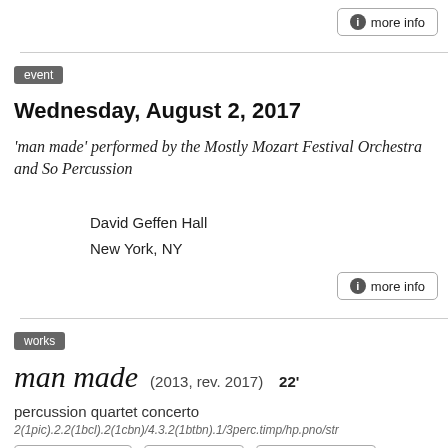more info
event
Wednesday, August 2, 2017
'man made' performed by the Mostly Mozart Festival Orchestra and So Percussion
David Geffen Hall
New York, NY
more info
works
man made  (2013, rev. 2017)  22'
percussion quartet concerto
2(1pic).2.2(1bcl).2(1cbn)/4.3.2(1btbn).1/3perc.timp/hp.pno/str
program note  rent music  score preview